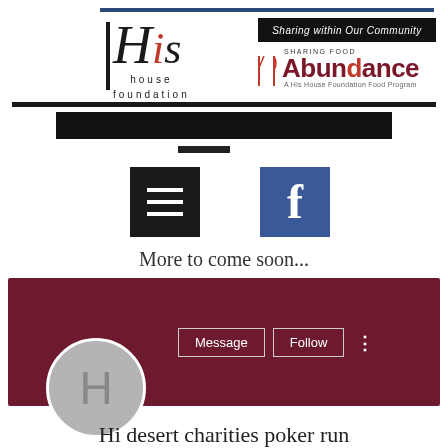[Figure (logo): His House Foundation logo with blue bar, italic script 'His' in black with red 'i', and 'house foundation' text below. Next to it: 'Sharing within Our Community' banner in black, and 'Abundance SHARING FOOD' logo in dark red/maroon with fork and knife icons. Subtitle: 'A His House Foundation Food Program']
[Figure (screenshot): Navigation icons: dark square with three horizontal white lines (hamburger menu), and blue square with white Facebook 'f' logo]
More to come soon...
[Figure (screenshot): Facebook-style profile section with dark maroon/burgundy background. Shows 'Message' and 'Follow' buttons with a three-dots menu icon. Below: circular grey avatar with letter 'H' in grey.]
Hi desert charities poker run